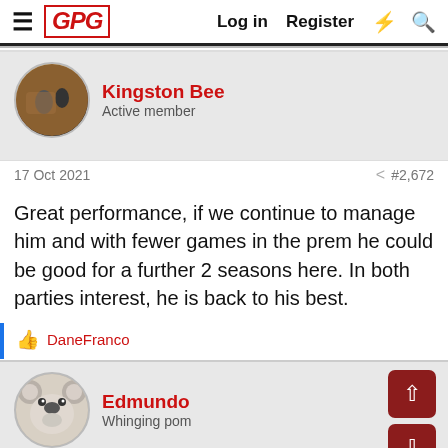GPG  Log in  Register
Kingston Bee
Active member
17 Oct 2021  #2,672
Great performance, if we continue to manage him and with fewer games in the prem he could be good for a further 2 seasons here. In both parties interest, he is back to his best.
DaneFranco
Edmundo
Whinging pom
17 Oct 2021  #2,673